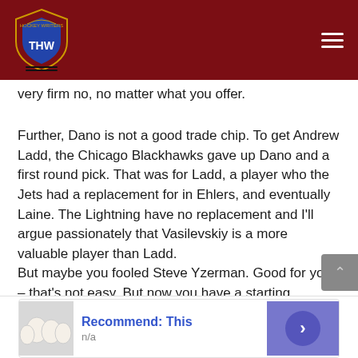THW (The Hockey Writers logo)
very firm no, no matter what you offer.
Further, Dano is not a good trade chip. To get Andrew Ladd, the Chicago Blackhawks gave up Dano and a first round pick. That was for Ladd, a player who the Jets had a replacement for in Ehlers, and eventually Laine. The Lightning have no replacement and I'll argue passionately that Vasilevskiy is a more valuable player than Ladd.
But maybe you fooled Steve Yzerman. Good for you – that's not easy. But now you have a starting goaltender, along with the best top six and one of the best defensive pairings in the NHL. Start planning the parade.
[Figure (other): Advertisement banner: Recommend: This, n/a, with thumbnail image and arrow button]